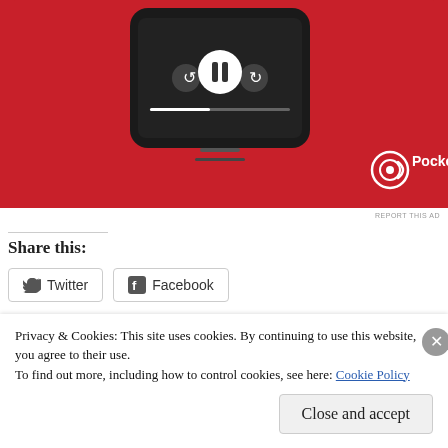[Figure (photo): Pocket Casts app advertisement showing a smartphone with red background and Pocket Casts logo]
REPORT THIS AD
Share this:
Twitter
Facebook
Like
Be the first to like this.
Privacy & Cookies: This site uses cookies. By continuing to use this website, you agree to their use.
To find out more, including how to control cookies, see here: Cookie Policy
Close and accept